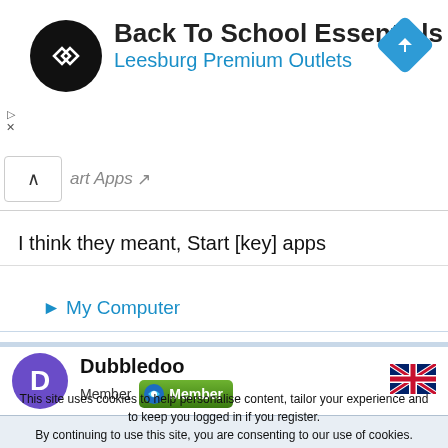[Figure (screenshot): Ad banner for Back To School Essentials at Leesburg Premium Outlets with logo and navigation icon]
I think they meant, Start [key] apps
▶ My Computer
[Figure (screenshot): User profile row showing Dubbledoo with Member badge and UK flag]
This site uses cookies to help personalise content, tailor your experience and to keep you logged in if you register. By continuing to use this site, you are consenting to our use of cookies.
✓ Accept   Learn more...